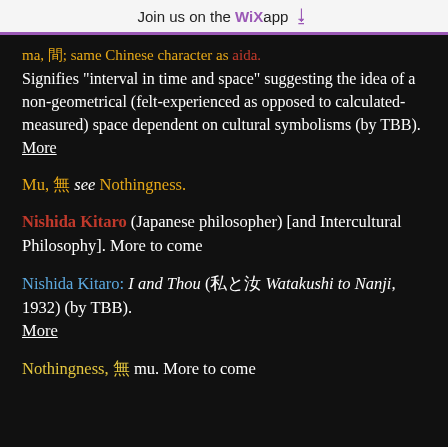Join us on the WiX app ⬇
ma, 間; same Chinese character as aida. Signifies "interval in time and space" suggesting the idea of a non-geometrical (felt-experienced as opposed to calculated- measured) space dependent on cultural symbolisms (by TBB). More
Mu, 無 see Nothingness.
Nishida Kitaro (Japanese philosopher) [and Intercultural Philosophy]. More to come
Nishida Kitaro: I and Thou (私と汝 Watakushi to Nanji, 1932) (by TBB). More
Nothingness, 無 mu. More to come